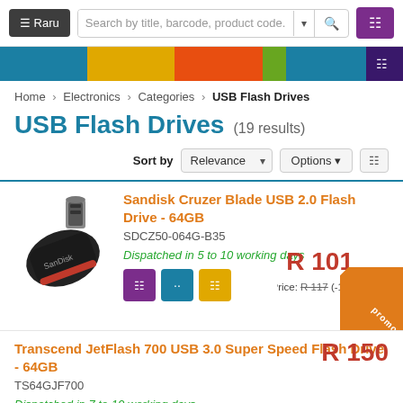Raru — Search bar — Cart
[Figure (screenshot): Raru e-commerce site navigation header with logo, search bar, and cart button]
Home › Electronics › Categories › USB Flash Drives
USB Flash Drives (19 results)
Sort by Relevance Options
Sandisk Cruzer Blade USB 2.0 Flash Drive - 64GB
SDCZ50-064G-B35
Dispatched in 5 to 10 working days
R 101
Normal Price: R 117 (-14...)
promo
Transcend JetFlash 700 USB 3.0 Super Speed Flash Drive - 64GB
TS64GJF700
Dispatched in 7 to 10 working days
R 150